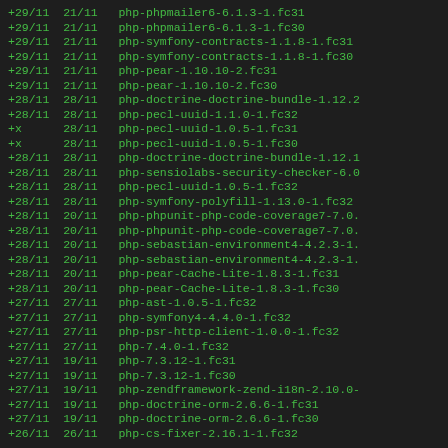+29/11 21/11  php-phpmailer6-6.1.3-1.fc31
+29/11 21/11  php-phpmailer6-6.1.3-1.fc30
+29/11 21/11  php-symfony-contracts-1.1.8-1.fc31
+29/11 21/11  php-symfony-contracts-1.1.8-1.fc30
+29/11 21/11  php-pear-1.10.10-2.fc31
+29/11 21/11  php-pear-1.10.10-2.fc30
+28/11 28/11  php-doctrine-doctrine-bundle-1.12.2
+28/11 28/11  php-pecl-uuid-1.1.0-1.fc32
+x     28/11  php-pecl-uuid-1.0.5-1.fc31
+x     28/11  php-pecl-uuid-1.0.5-1.fc30
+28/11 28/11  php-doctrine-doctrine-bundle-1.12.1
+28/11 28/11  php-sensiolabs-security-checker-6.0
+28/11 28/11  php-pecl-uuid-1.0.5-1.fc32
+28/11 28/11  php-symfony-polyfill-1.13.0-1.fc32
+28/11 20/11  php-phpunit-php-code-coverage7-7.0.
+28/11 20/11  php-phpunit-php-code-coverage7-7.0.
+28/11 20/11  php-sebastian-environment4-4.2.3-1.
+28/11 20/11  php-sebastian-environment4-4.2.3-1.
+28/11 20/11  php-pear-Cache-Lite-1.8.3-1.fc31
+28/11 20/11  php-pear-Cache-Lite-1.8.3-1.fc30
+27/11 27/11  php-ast-1.0.5-1.fc32
+27/11 27/11  php-symfony4-4.4.0-1.fc32
+27/11 27/11  php-psr-http-client-1.0.0-1.fc32
+27/11 27/11  php-7.4.0-1.fc32
+27/11 19/11  php-7.3.12-1.fc31
+27/11 19/11  php-7.3.12-1.fc30
+27/11 19/11  php-zendframework-zend-i18n-2.10.0-
+27/11 19/11  php-doctrine-orm-2.6.6-1.fc31
+27/11 19/11  php-doctrine-orm-2.6.6-1.fc30
+26/11 26/11  php-cs-fixer-2.16.1-1.fc32